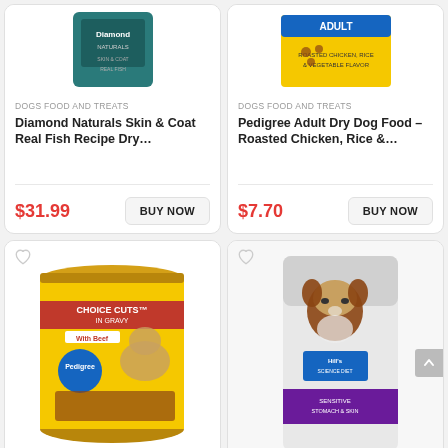[Figure (photo): Diamond Naturals Skin & Coat Real Fish Recipe Dry dog food package, teal/dark colored bag]
DOGS FOOD AND TREATS
Diamond Naturals Skin & Coat Real Fish Recipe Dry…
$31.99
BUY NOW
[Figure (photo): Pedigree Adult Dry Dog Food - Roasted Chicken, Rice & Vegetable, yellow box with dog food imagery]
DOGS FOOD AND TREATS
Pedigree Adult Dry Dog Food – Roasted Chicken, Rice &…
$7.70
BUY NOW
[Figure (photo): Pedigree Choice Cuts in Gravy with Beef canned dog food, yellow and red can with golden retriever]
[Figure (photo): Hill's Science Diet dog food bag showing small dog (Chihuahua), sensitive stomach and skin formula]